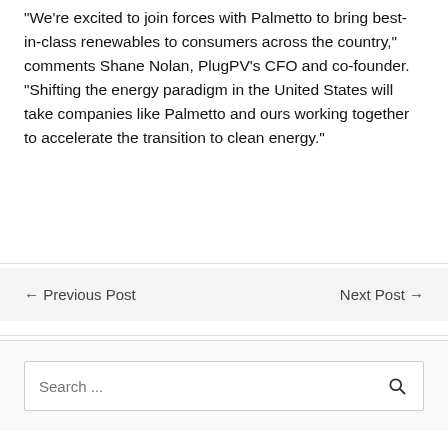“We’re excited to join forces with Palmetto to bring best-in-class renewables to consumers across the country,” comments Shane Nolan, PlugPV’s CFO and co-founder. “Shifting the energy paradigm in the United States will take companies like Palmetto and ours working together to accelerate the transition to clean energy.”
← Previous Post    Next Post →
Search ...